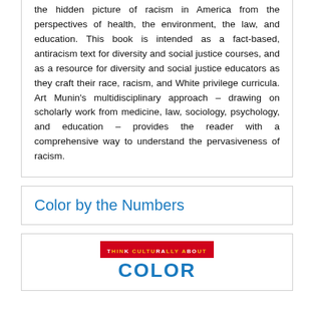the hidden picture of racism in America from the perspectives of health, the environment, the law, and education. This book is intended as a fact-based, antiracism text for diversity and social justice courses, and as a resource for diversity and social justice educators as they craft their race, racism, and White privilege curricula. Art Munin's multidisciplinary approach – drawing on scholarly work from medicine, law, sociology, psychology, and education – provides the reader with a comprehensive way to understand the pervasiveness of racism.
Color by the Numbers
[Figure (illustration): Book cover showing a red banner with text and 'COLOR' in blue bold letters below it]